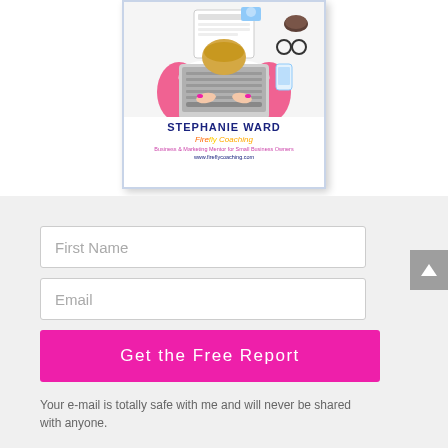[Figure (illustration): Book cover for Stephanie Ward Firefly Coaching showing a woman working at a laptop from aerial view, with text: STEPHANIE WARD, Firefly Coaching, Business & Marketing Mentor for Small Business Owners, www.fireflycoaching.com]
First Name
Email
Get the Free Report
Your e-mail is totally safe with me and will never be shared with anyone.